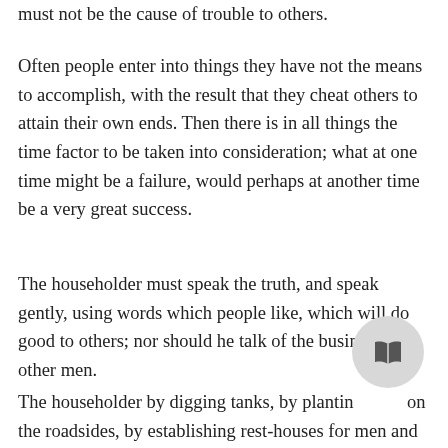must not be the cause of trouble to others.
Often people enter into things they have not the means to accomplish, with the result that they cheat others to attain their own ends. Then there is in all things the time factor to be taken into consideration; what at one time might be a failure, would perhaps at another time be a very great success.
The householder must speak the truth, and speak gently, using words which people like, which will do good to others; nor should he talk of the business of other men.
The householder by digging tanks, by planting trees on the roadsides, by establishing rest-houses for men and animals, by making roads and building